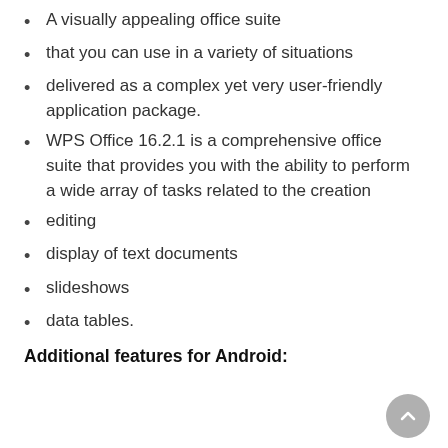A visually appealing office suite
that you can use in a variety of situations
delivered as a complex yet very user-friendly application package.
WPS Office 16.2.1 is a comprehensive office suite that provides you with the ability to perform a wide array of tasks related to the creation
editing
display of text documents
slideshows
data tables.
Additional features for Android: